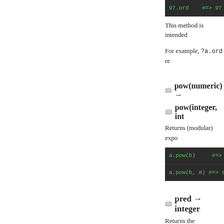[Figure (screenshot): Code block showing: 97.ord    #=> 97]
This method is intended
For example, ?a.ord re
pow(numeric) →
pow(integer, int
Returns (modular) expo
[Figure (screenshot): Code block showing: a.pow(b)    #=> sa / a.pow(b, m)  #=> sa]
pred → integer
Returns the predecessor
[Figure (screenshot): Code block showing: 1.pred    #=> 0]